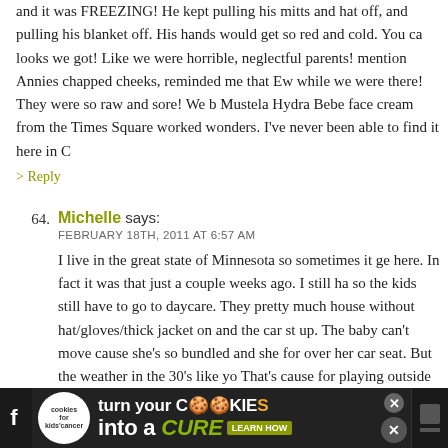and it was FREEZING! He kept pulling his mitts and hat off, and pulling his blanket off. His hands would get so red and cold. You can imagine the looks we got! Like we were horrible, neglectful parents! Not to mention Annies chapped cheeks, reminded me that Ewan had them while we were there! They were so raw and sore! We bought some Mustela Hydra Bebe face cream from the Times Square Duane Reade and it worked wonders. I've never been able to find it here in C
> Reply
64. Michelle says:
FEBRUARY 18TH, 2011 AT 6:57 AM

I live in the great state of Minnesota so sometimes it ge here. In fact it was that just a couple weeks ago. I still ha so the kids still have to go to daycare. They pretty much house without hat/gloves/thick jacket on and the car st up. The baby can't move cause she's so bundled and she for over her car seat. But the weather in the 30's like yo That's cause for playing outside (as long as there is no w snowpants... but outside we will go.
[Figure (screenshot): Advertisement banner for 'Cookies for Kids Cancer' - turn your cookies into a CURE, LEARN HOW, with close button and social media icons]